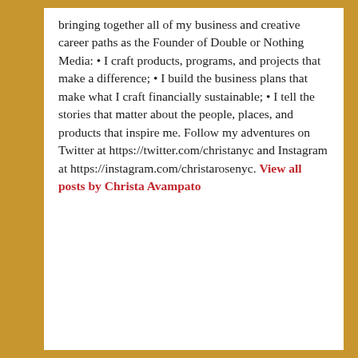bringing together all of my business and creative career paths as the Founder of Double or Nothing Media: • I craft products, programs, and projects that make a difference; • I build the business plans that make what I craft financially sustainable; • I tell the stories that matter about the people, places, and products that inspire me. Follow my adventures on Twitter at https://twitter.com/christanyc and Instagram at https://instagram.com/christarosenyc. View all posts by Christa Avampato